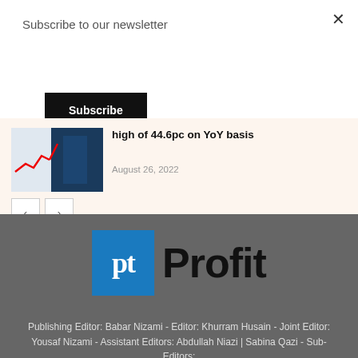Subscribe to our newsletter
Subscribe
high of 44.6pc on YoY basis
August 26, 2022
[Figure (logo): Profit Times logo with blue box containing 'pt' and black 'Profit' text]
Publishing Editor: Babar Nizami - Editor: Khurram Husain - Joint Editor: Yousaf Nizami - Assistant Editors: Abdullah Niazi | Sabina Qazi - Sub-Editors: